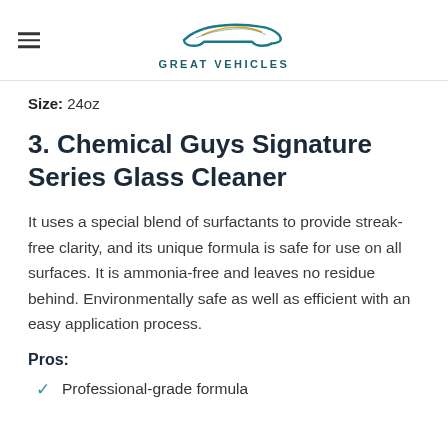GREAT VEHICLES
Size: 24oz
3. Chemical Guys Signature Series Glass Cleaner
It uses a special blend of surfactants to provide streak-free clarity, and its unique formula is safe for use on all surfaces. It is ammonia-free and leaves no residue behind. Environmentally safe as well as efficient with an easy application process.
Pros:
Professional-grade formula